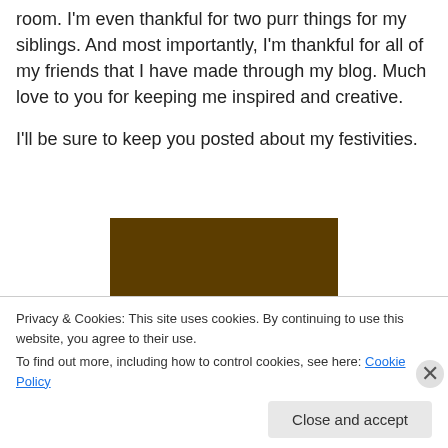room. I'm even thankful for two purr things for my siblings. And most importantly, I'm thankful for all of my friends that I have made through my blog. Much love to you for keeping me inspired and creative.
I'll be sure to keep you posted about my festivities.
[Figure (illustration): Dark brown background image with yellow bold text reading 'Happy Thanksgiving']
Privacy & Cookies: This site uses cookies. By continuing to use this website, you agree to their use.
To find out more, including how to control cookies, see here: Cookie Policy
Close and accept